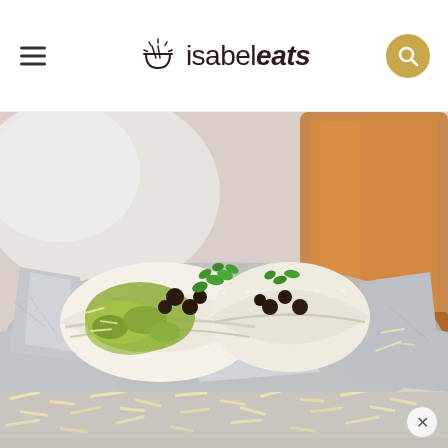isabel eats
[Figure (photo): A close-up photo of a burrito cut in half and wrapped in aluminum foil, showing the cross-section with guacamole, black beans, cilantro, rice, and cheese filling. A glass of amber liquid (iced tea) is visible in the blurred background.]
[Figure (photo): Bottom portion of a food photograph showing shredded cheese, part of an advertisement overlay at the bottom of the page with an X close button.]